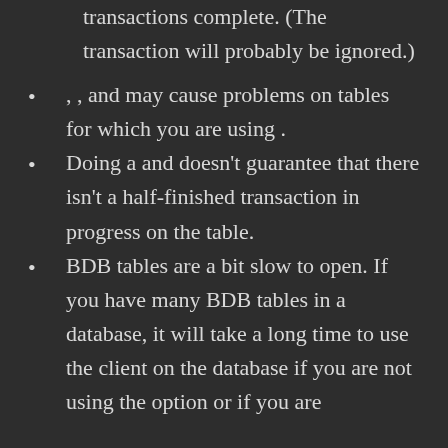transactions complete. (The transaction will probably be ignored.)
, , and may cause problems on tables for which you are using .
Doing a and doesn't guarantee that there isn't a half-finished transaction in progress on the table.
BDB tables are a bit slow to open. If you have many BDB tables in a database, it will take a long time to use the client on the database if you are not using the option or if you are